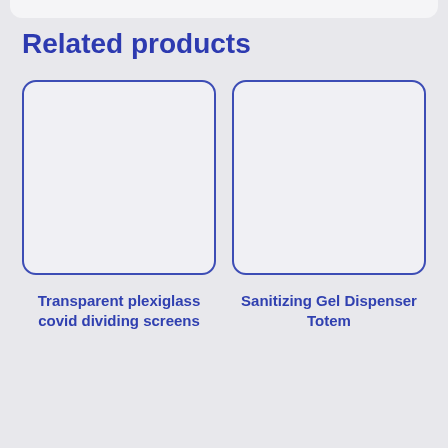Related products
[Figure (other): Empty product image placeholder box with blue rounded border for Transparent plexiglass covid dividing screens]
Transparent plexiglass covid dividing screens
[Figure (other): Empty product image placeholder box with blue rounded border for Sanitizing Gel Dispenser Totem]
Sanitizing Gel Dispenser Totem